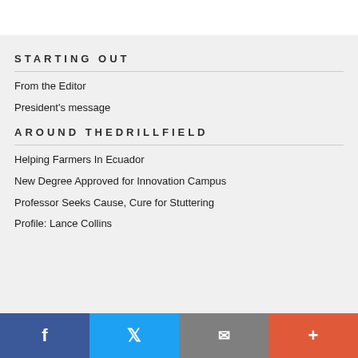STARTING OUT
From the Editor
President's message
AROUND THEDRILLFIELD
Helping Farmers In Ecuador
New Degree Approved for Innovation Campus
Professor Seeks Cause, Cure for Stuttering
Profile: Lance Collins